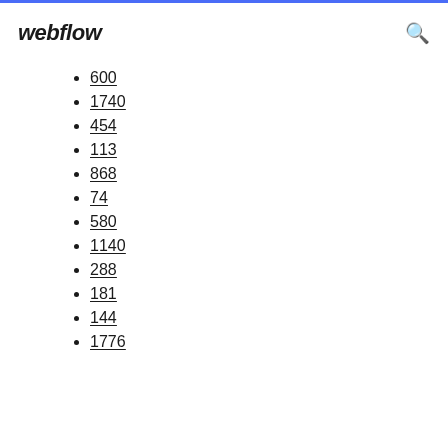webflow
600
1740
454
113
868
74
580
1140
288
181
144
1776